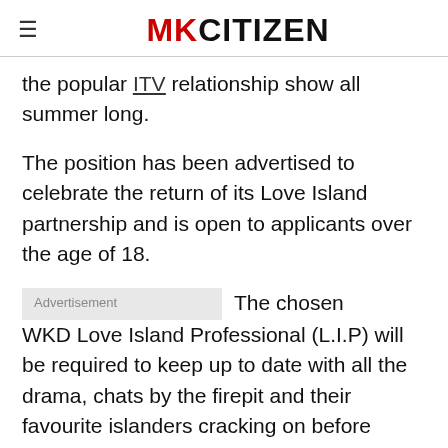MKCITIZEN
the popular ITV relationship show all summer long.
The position has been advertised to celebrate the return of its Love Island partnership and is open to applicants over the age of 18.
The chosen WKD Love Island Professional (L.I.P) will be required to keep up to date with all the drama, chats by the firepit and their favourite islanders cracking on before reporting their findings back to WKD bosses.